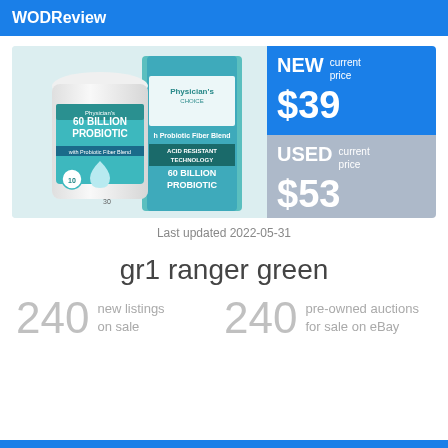WODReview
[Figure (photo): Physician's Choice 60 Billion Probiotic supplement bottle and box with teal/white design showing '60 BILLION PROBIOTIC' and 'Acid Resistant Technology' text]
NEW current price $39
USED current price $53
Last updated 2022-05-31
gr1 ranger green
240 new listings on sale
240 pre-owned auctions for sale on eBay